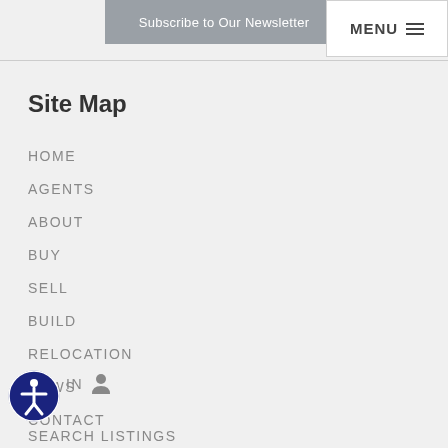Subscribe to Our Newsletter
MENU
Site Map
HOME
AGENTS
ABOUT
BUY
SELL
BUILD
RELOCATION
NEWS
CONTACT
IN
SEARCH LISTINGS